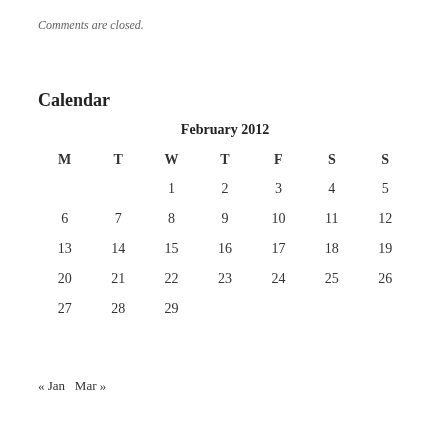Comments are closed.
Calendar
| M | T | W | T | F | S | S |
| --- | --- | --- | --- | --- | --- | --- |
|  |  | 1 | 2 | 3 | 4 | 5 |
| 6 | 7 | 8 | 9 | 10 | 11 | 12 |
| 13 | 14 | 15 | 16 | 17 | 18 | 19 |
| 20 | 21 | 22 | 23 | 24 | 25 | 26 |
| 27 | 28 | 29 |  |  |  |  |
« Jan   Mar »